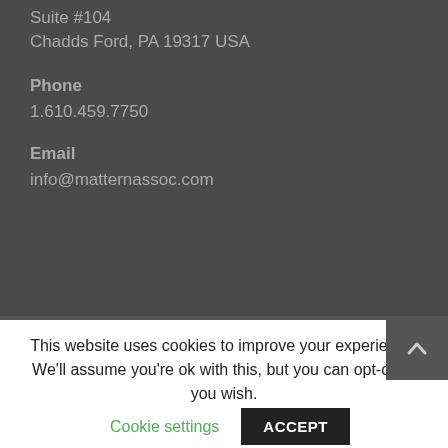Suite #104
Chadds Ford, PA 19317 USA
Phone
1.610.459.7750
Email
info@matternassoc.com
This website uses cookies to improve your experience. We'll assume you're ok with this, but you can opt-out if you wish.
Cookie settings
ACCEPT